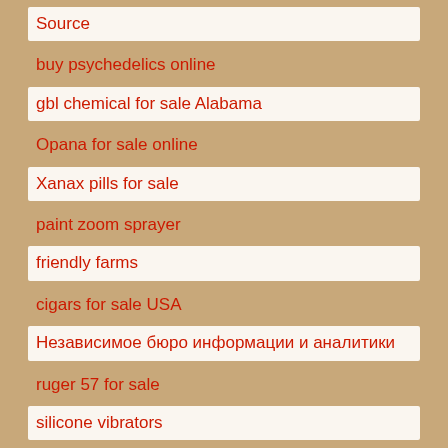Source
buy psychedelics online
gbl chemical for sale Alabama
Opana for sale online
Xanax pills for sale
paint zoom sprayer
friendly farms
cigars for sale USA
Независимое бюро информации и аналитики
ruger 57 for sale
silicone vibrators
vibrating butt plug
russian books